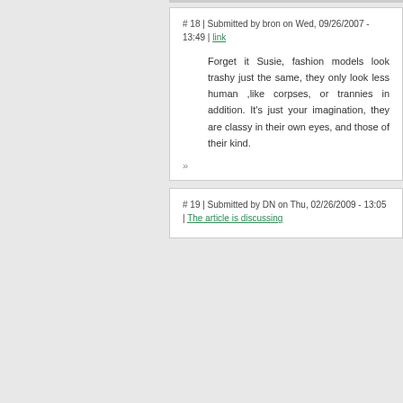# 18 | Submitted by bron on Wed, 09/26/2007 - 13:49 | link
Forget it Susie, fashion models look trashy just the same, they only look less human ,like corpses, or trannies in addition. It's just your imagination, they are classy in their own eyes, and those of their kind.
»
# 19 | Submitted by DN on Thu, 02/26/2009 - 13:05 | The article is discussing